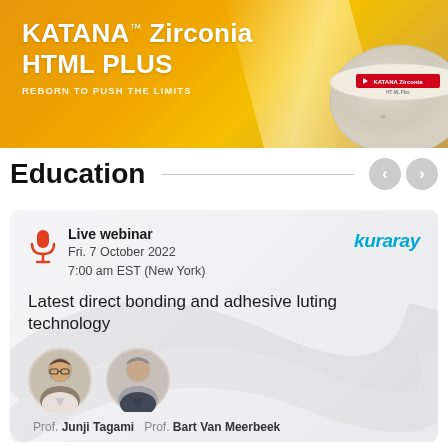[Figure (photo): KATANA Zirconia HTML PLUS product advertisement banner with orange/gold gradient background, white text reading 'KATANA™ Zirconia HTML PLUS' and 'REBORN TO PUSH THE LIMITS', with a circular zirconia disc product image on the right and light beam effect]
Education
[Figure (infographic): Webinar event card with light gray gradient background. Contains microphone icon in orange/red, bold text 'Live webinar', date 'Fri. 7 October 2022', time '7:00 am EST (New York)', Kuraray logo in teal/cyan. Title: 'Latest direct bonding and adhesive luting technology'. Two circular speaker portrait photos. Speaker names: Prof. Junji Tagami, Prof. Bart Van Meerbeek]